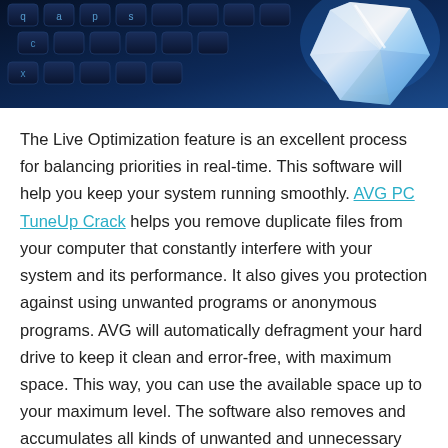[Figure (photo): Close-up photo of a dark blue keyboard with a diamond/crystal object on the right side, lit with blue lighting.]
The Live Optimization feature is an excellent process for balancing priorities in real-time. This software will help you keep your system running smoothly. AVG PC TuneUp Crack helps you remove duplicate files from your computer that constantly interfere with your system and its performance. It also gives you protection against using unwanted programs or anonymous programs. AVG will automatically defragment your hard drive to keep it clean and error-free, with maximum space. This way, you can use the available space up to your maximum level. The software also removes and accumulates all kinds of unwanted and unnecessary